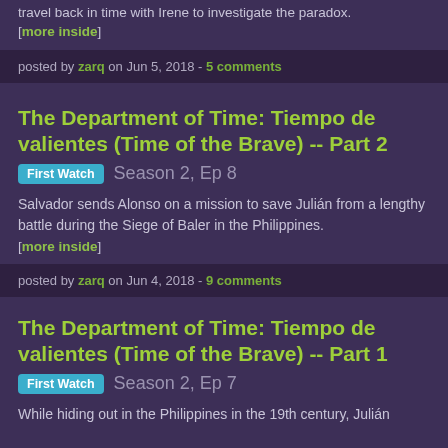travel back in time with Irene to investigate the paradox. [more inside]
posted by zarq on Jun 5, 2018 - 5 comments
The Department of Time: Tiempo de valientes (Time of the Brave) -- Part 2
First Watch  Season 2, Ep 8
Salvador sends Alonso on a mission to save Julián from a lengthy battle during the Siege of Baler in the Philippines. [more inside]
posted by zarq on Jun 4, 2018 - 9 comments
The Department of Time: Tiempo de valientes (Time of the Brave) -- Part 1
First Watch  Season 2, Ep 7
While hiding out in the Philippines in the 19th century, Julián